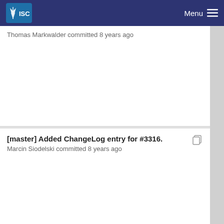ISC | Menu
Thomas Markwalder committed 8 years ago
[master] Added ChangeLog entry for #3316.
Marcin Siodelski committed 8 years ago
[master] Add ChangeLog for #2512